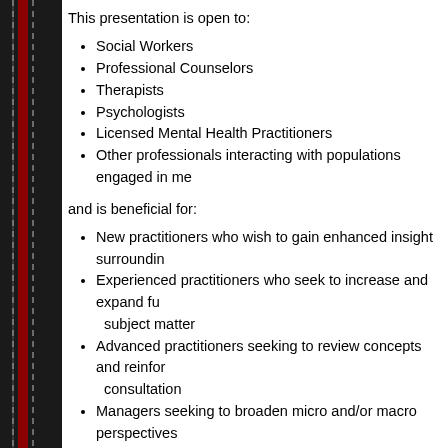This presentation is open to:
Social Workers
Professional Counselors
Therapists
Psychologists
Licensed Mental Health Practitioners
Other professionals interacting with populations engaged in me...
and is beneficial for:
New practitioners who wish to gain enhanced insight surroundin...
Experienced practitioners who seek to increase and expand fun... subject matter
Advanced practitioners seeking to review concepts and reinforce... consultation
Managers seeking to broaden micro and/or macro perspectives...
Participants will receive their certificate electronically upon completi... form.
CE You LLC #1573 is approved to offer social work continuing educ... Boards (ASWB) Approved Continuing Education (ACE) program. O... approved as ACE providers. State and provincial regulatory boards...